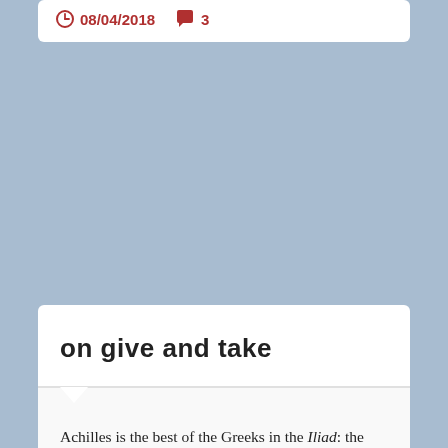08/04/2018  3
on give and take
Achilles is the best of the Greeks in the Iliad: the fastest,